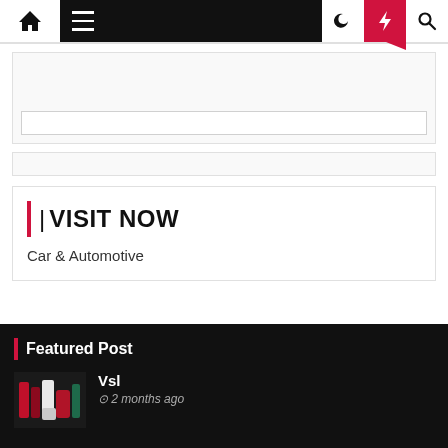[Figure (screenshot): Website navigation bar with home icon, hamburger menu on black background, moon icon, red lightning bolt icon, and search icon]
[Figure (other): Large advertisement placeholder box with inner bar]
[Figure (other): Small advertisement placeholder bar]
| | VISIT NOW
Car & Automotive
Featured Post
Vsl
2 months ago